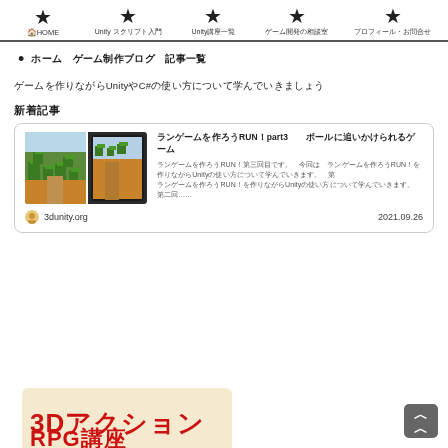HOME | Unity スクリプト入門 | Unity講座一覧 | ゲーム開発の相談室 | プロフィール・お問合せ
ホーム　ゲーム制作ブログ　記事一覧
ゲームを作りながらUnityやC#の使い方について学んでいきましょう
新着記事
[Figure (screenshot): Card showing RUNゲームを作ろう3 article with game screenshot, site 3dunity.org, date 2021.09.26]
[Figure (illustration): Banner: 3DアクションRPG講座 with yellow/cream background and red bold Japanese text]